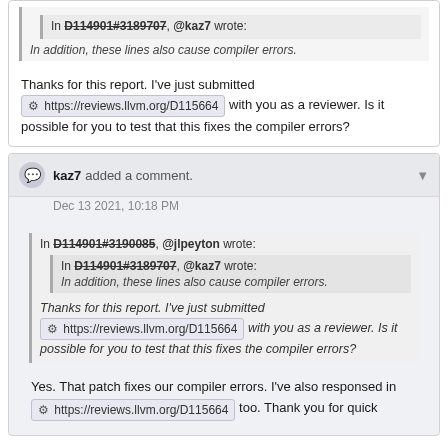In D114901#3189707, @kaz7 wrote:
In addition, these lines also cause compiler errors.
Thanks for this report. I've just submitted https://reviews.llvm.org/D115664 with you as a reviewer. Is it possible for you to test that this fixes the compiler errors?
kaz7 added a comment. Dec 13 2021, 10:18 PM
In D114901#3190085, @jlpeyton wrote:
In D114901#3189707, @kaz7 wrote:
In addition, these lines also cause compiler errors.
Thanks for this report. I've just submitted https://reviews.llvm.org/D115664 with you as a reviewer. Is it possible for you to test that this fixes the compiler errors?
Yes. That patch fixes our compiler errors. I've also responsed in https://reviews.llvm.org/D115664 too. Thank you for quick